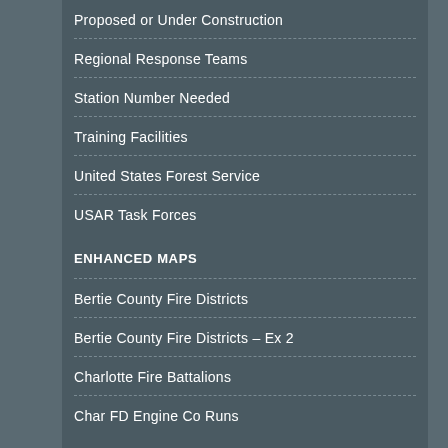Proposed or Under Construction
Regional Response Teams
Station Number Needed
Training Facilities
United States Forest Service
USAR Task Forces
ENHANCED MAPS
Bertie County Fire Districts
Bertie County Fire Districts – Ex 2
Charlotte Fire Battalions
Char FD Engine Co Runs